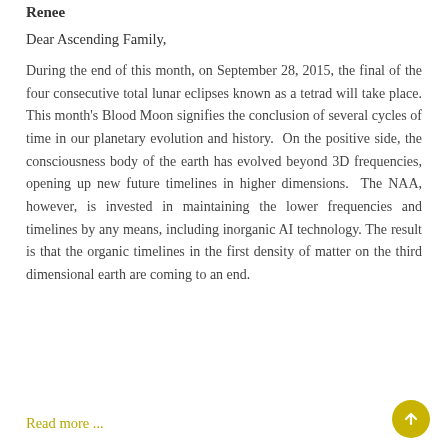Renee
Dear Ascending Family,
During the end of this month, on September 28, 2015, the final of the four consecutive total lunar eclipses known as a tetrad will take place. This month's Blood Moon signifies the conclusion of several cycles of time in our planetary evolution and history. On the positive side, the consciousness body of the earth has evolved beyond 3D frequencies, opening up new future timelines in higher dimensions. The NAA, however, is invested in maintaining the lower frequencies and timelines by any means, including inorganic AI technology. The result is that the organic timelines in the first density of matter on the third dimensional earth are coming to an end.
Read more ...